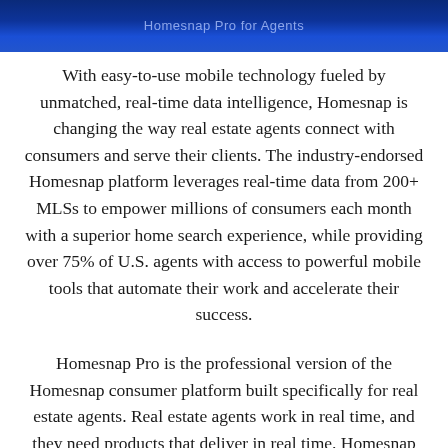[Figure (photo): Dark blue banner image at top of page with faint text overlay]
With easy-to-use mobile technology fueled by unmatched, real-time data intelligence, Homesnap is changing the way real estate agents connect with consumers and serve their clients. The industry-endorsed Homesnap platform leverages real-time data from 200+ MLSs to empower millions of consumers each month with a superior home search experience, while providing over 75% of U.S. agents with access to powerful mobile tools that automate their work and accelerate their success.
Homesnap Pro is the professional version of the Homesnap consumer platform built specifically for real estate agents. Real estate agents work in real time, and they need products that deliver in real time. Homesnap Pro provides you with real-time